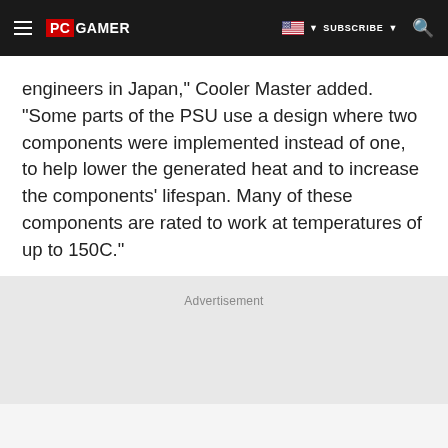PC GAMER | SUBSCRIBE
engineers in Japan," Cooler Master added. "Some parts of the PSU use a design where two components were implemented instead of one, to help lower the generated heat and to increase the components' lifespan. Many of these components are rated to work at temperatures of up to 150C."
Advertisement